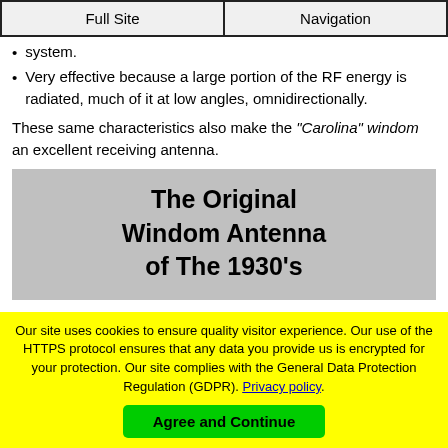Full Site | Navigation
system.
Very effective because a large portion of the RF energy is radiated, much of it at low angles, omnidirectionally.
These same characteristics also make the "Carolina" windom an excellent receiving antenna.
The Original Windom Antenna of The 1930's
The original windom was a Zepp-type antenna fed 14% off-center with a single wire.
The single-wire feeder radiated RF all the way into the operating...
Our site uses cookies to ensure quality visitor experience. Our use of the HTTPS protocol ensures that any data you provide us is encrypted for your protection. Our site complies with the General Data Protection Regulation (GDPR). Privacy policy.
Agree and Continue